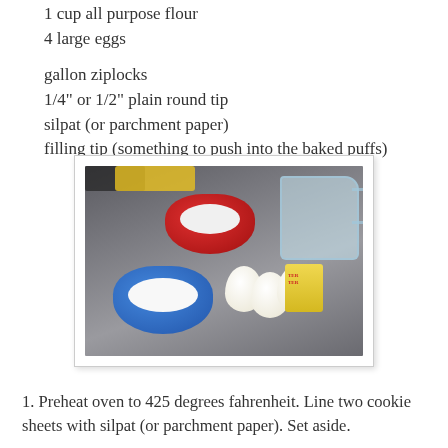1 cup all purpose flour
4 large eggs
gallon ziplocks
1/4" or 1/2" plain round tip
silpat (or parchment paper)
filling tip (something to push into the baked puffs)
[Figure (photo): Photo of baking ingredients on a gray surface: a red bowl with flour, a blue bowl with sugar/salt, three white eggs, a stick of butter, and a Pyrex glass measuring cup with water.]
1. Preheat oven to 425 degrees fahrenheit. Line two cookie sheets with silpat (or parchment paper). Set aside.